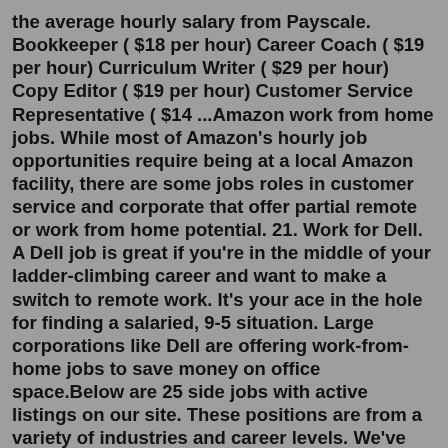the average hourly salary from Payscale. Bookkeeper ( $18 per hour) Career Coach ( $19 per hour) Curriculum Writer ( $29 per hour) Copy Editor ( $19 per hour) Customer Service Representative ( $14 ...Amazon work from home jobs. While most of Amazon's hourly job opportunities require being at a local Amazon facility, there are some jobs roles in customer service and corporate that offer partial remote or work from home potential. 21. Work for Dell. A Dell job is great if you're in the middle of your ladder-climbing career and want to make a switch to remote work. It's your ace in the hole for finding a salaried, 9-5 situation. Large corporations like Dell are offering work-from-home jobs to save money on office space.Below are 25 side jobs with active listings on our site. These positions are from a variety of industries and career levels. We've also included the average hourly salary from Payscale. Bookkeeper ( $18 per hour) Career Coach ( $19 per hour) Curriculum Writer ( $29 per hour) Copy Editor ( $19 per hour) Customer Service Representative ( $14...